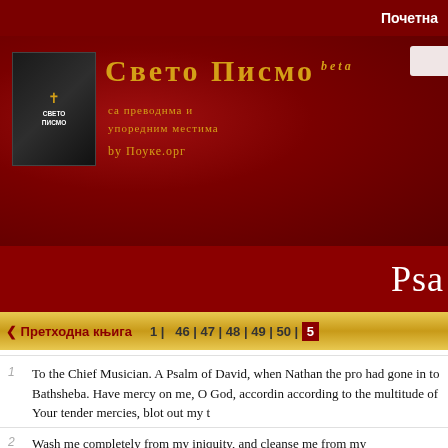Почетна
[Figure (logo): Sveto Pismo (Holy Bible) website logo with book icon and Serbian Cyrillic title text 'Свето Писмо beta' with subtitle 'са преводнма и упоредним местима by Поуке.орг']
Psa
< Претходна књига    1 |  46 | 47 | 48 | 49 | 50 | 5
1  To the Chief Musician. A Psalm of David, when Nathan the pro had gone in to Bathsheba. Have mercy on me, O God, accordin according to the multitude of Your tender mercies, blot out my t
2  Wash me completely from my iniquity, and cleanse me from my